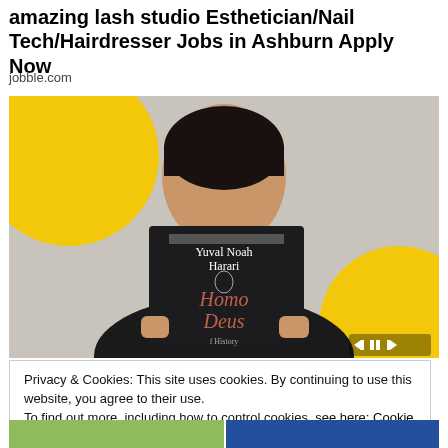amazing lash studio Esthetician/Nail Tech/Hairdresser Jobs in Ashburn Apply Now
jobble.com
[Figure (photo): Person holding up the book 'Homo Deus' by Yuval Noah Harari, covering most of their face. Background has yellow circular shapes on a light wall. Video player controls visible in the bottom right corner.]
Privacy & Cookies: This site uses cookies. By continuing to use this website, you agree to their use.
To find out more, including how to control cookies, see here: Cookie Policy
Close and accept
[Figure (photo): Bottom strip showing partial images, appears to be a video or image gallery row.]